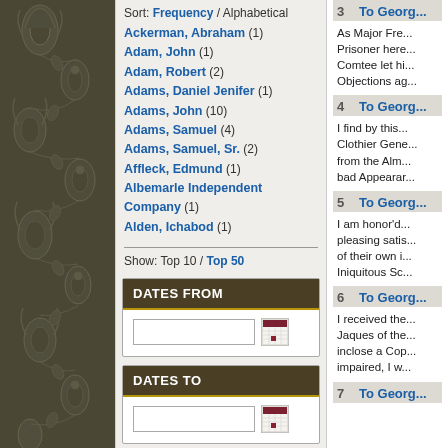[Figure (illustration): Decorative dark olive/brown floral paisley pattern on left panel]
Sort: Frequency / Alphabetical
Ackerman, Abraham (1)
Adam, John (1)
Adam, Robert (2)
Adams, Daniel Jenifer (1)
Adams, John (10)
Adams, Samuel (4)
Adams, Samuel, Sr. (2)
Affleck, Edmund (1)
Albemarle Independent Company (1)
Alden, Ichabod (1)
Show: Top 10 / Top 50
DATES FROM
DATES TO
3  To Georg...
As Major Fre... Prisoner here... Comtee let hi... Objections ag...
4  To Georg...
I find by this... Clothier Gene... from the Alm... bad Appearar...
5  To Georg...
I am honor'd... pleasing satis... of their own i... Iniquitous Sc...
6  To Georg...
I received the... Jaques of the... inclose a Cop... impaired, I w...
7  To Georg...